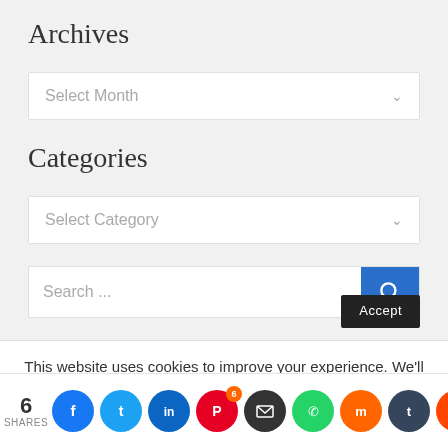Archives
Select Month
Categories
Select Category
Search ...
This website uses cookies to improve your experience. We'll assume you're ok with this, but you can opt-out if you wish.
6 SHARES